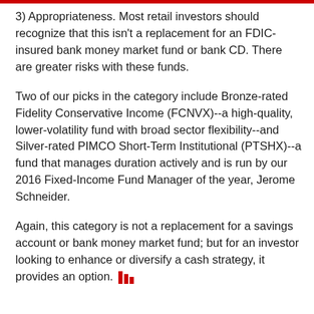3) Appropriateness. Most retail investors should recognize that this isn't a replacement for an FDIC-insured bank money market fund or bank CD. There are greater risks with these funds.
Two of our picks in the category include Bronze-rated Fidelity Conservative Income (FCNVX)--a high-quality, lower-volatility fund with broad sector flexibility--and Silver-rated PIMCO Short-Term Institutional (PTSHX)--a fund that manages duration actively and is run by our 2016 Fixed-Income Fund Manager of the year, Jerome Schneider.
Again, this category is not a replacement for a savings account or bank money market fund; but for an investor looking to enhance or diversify a cash strategy, it provides an option.